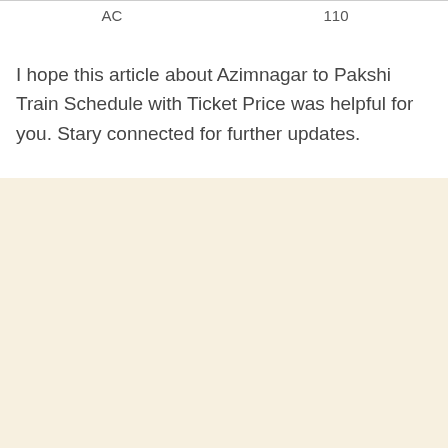| AC | 110 |
I hope this article about Azimnagar to Pakshi Train Schedule with Ticket Price was helpful for you. Stary connected for further updates.